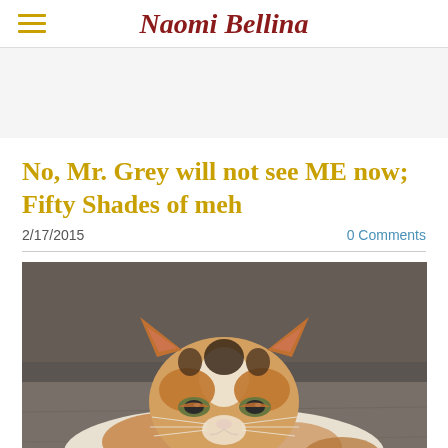Naomi Bellina
No, Mr. Grey will not see ME now; Fifty Shades of meh
2/17/2015
0 Comments
[Figure (photo): A calico cat lying flat on a concrete floor, looking directly at the camera with a tired or unimpressed expression. The cat has orange, white, and black markings.]